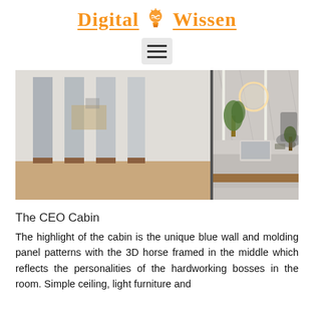Digital Wissen
[Figure (logo): Digital Wissen logo with orange lightbulb icon between the words, with orange underline]
[Figure (other): Hamburger menu icon (three horizontal lines) inside a light gray rounded rectangle]
[Figure (photo): Interior photo of a modern office reception area with marble desk, laptop, plants, mirrors, and wood flooring]
The CEO Cabin
The highlight of the cabin is the unique blue wall and molding panel patterns with the 3D horse framed in the middle which reflects the personalities of the hardworking bosses in the room. Simple ceiling, light furniture and